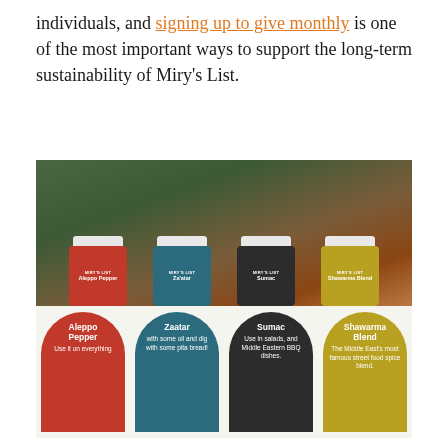individuals, and signing up to give monthly is one of the most important ways to support the long-term sustainability of Miry's List.
[Figure (photo): A food spread with Middle Eastern dishes and a gift box of Miry's List spice jars: Aleppo Pepper, Za'atar, Sumac, and Shawarma Blend. The box shows arch-shaped labels describing each spice.]